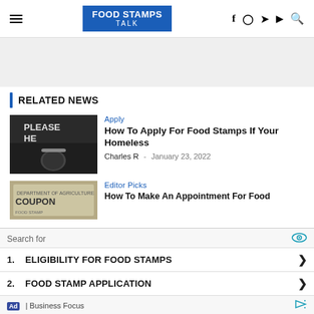FOOD STAMPS TALK
RELATED NEWS
[Figure (photo): Homeless person holding a cup with coins, cardboard sign in background]
Apply
How To Apply For Food Stamps If Your Homeless
Charles R · January 23, 2022
[Figure (photo): USDA food coupons / food stamps document]
Editor Picks
How To Make An Appointment For Food
Search for
1. ELIGIBILITY FOR FOOD STAMPS
2. FOOD STAMP APPLICATION
Ad | Business Focus